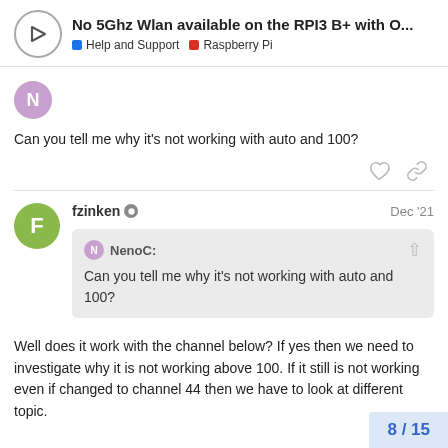No 5Ghz Wlan available on the RPI3 B+ with O... | Help and Support | Raspberry Pi
Can you tell me why it's not working with auto and 100?
fzinken Dec '21
NenoC: Can you tell me why it's not working with auto and 100?
Well does it work with the channel below? If yes then we need to investigate why it is not working above 100. If it still is not working even if changed to channel 44 then we have to look at different topic.
8 / 15